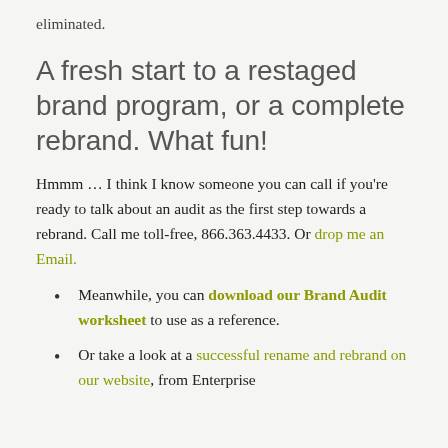eliminated.
A fresh start to a restaged brand program, or a complete rebrand. What fun!
Hmmm … I think I know someone you can call if you're ready to talk about an audit as the first step towards a rebrand. Call me toll-free, 866.363.4433. Or drop me an Email.
Meanwhile, you can download our Brand Audit worksheet to use as a reference.
Or take a look at a successful rename and rebrand on our website, from Enterprise